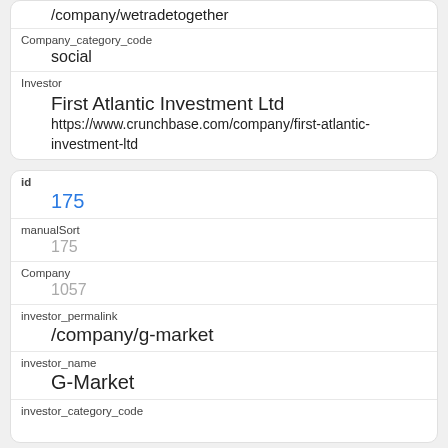/company/wetradetogether
Company_category_code
social
Investor
First Atlantic Investment Ltd
https://www.crunchbase.com/company/first-atlantic-investment-ltd
id
175
manualSort
175
Company
1057
investor_permalink
/company/g-market
investor_name
G-Market
investor_category_code